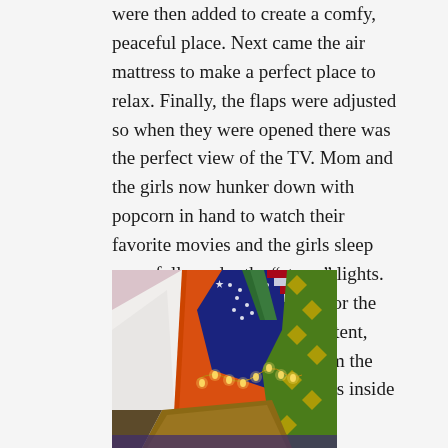were then added to create a comfy, peaceful place. Next came the air mattress to make a perfect place to relax. Finally, the flaps were adjusted so when they were opened there was the perfect view of the TV. Mom and the girls now hunker down with popcorn in hand to watch their favorite movies and the girls sleep peacefully under the “starry” lights. If you are feeling really lazy or the kids are too young to build a tent, bring in the camping tent from the garage, string Christmas lights inside and have fun.
[Figure (photo): Photo of a homemade indoor tent/fort made from colorful blankets and fabrics including an American flag pattern, orange fabric, green and yellow patterned blanket, with string lights visible inside, set up indoors.]